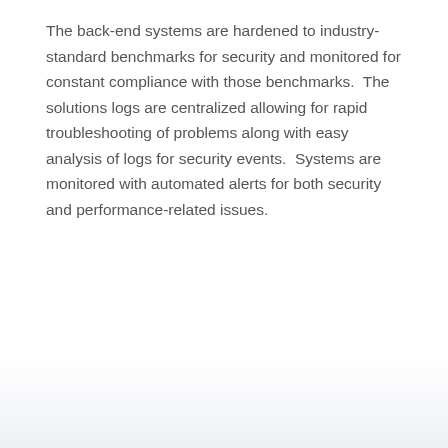The back-end systems are hardened to industry-standard benchmarks for security and monitored for constant compliance with those benchmarks.  The solutions logs are centralized allowing for rapid troubleshooting of problems along with easy analysis of logs for security events.  Systems are monitored with automated alerts for both security and performance-related issues.